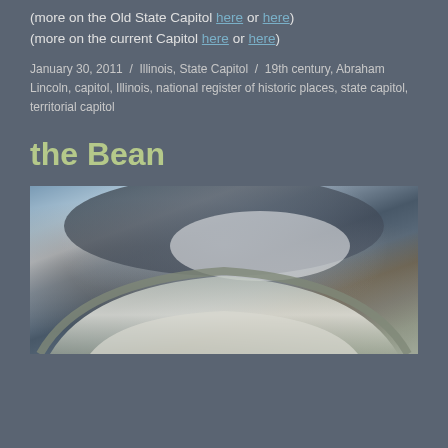(more on the Old State Capitol here or here)
(more on the current Capitol here or here)
January 30, 2011 / Illinois, State Capitol / 19th century, Abraham Lincoln, capitol, Illinois, national register of historic places, state capitol, territorial capitol
the Bean
[Figure (photo): Reflective metallic sculpture (the Bean / Cloud Gate) in Chicago showing distorted reflections of people and the sky above]